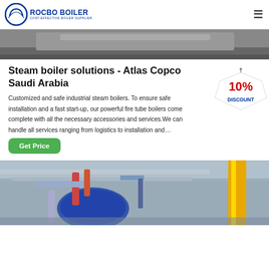ROCBO BOILER — COST-EFFECTIVE BOILER SUPPLIER
[Figure (photo): Top partial view of industrial boiler equipment, grayscale]
Steam boiler solutions - Atlas Copco Saudi Arabia
Customized and safe industrial steam boilers. To ensure safe installation and a fast start-up, our powerful fire tube boilers come complete with all the necessary accessories and services.We can handle all services ranging from logistics to installation and…
[Figure (infographic): 10% DISCOUNT promotional badge]
[Figure (photo): Industrial boiler room with pipes, blue and yellow equipment]
Get Price